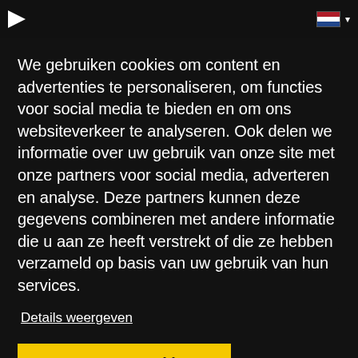Navigation bar with logo and Dutch flag dropdown
We gebruiken cookies om content en advertenties te personaliseren, om functies voor social media te bieden en om ons websiteverkeer te analyseren. Ook delen we informatie over uw gebruik van onze site met onze partners voor social media, adverteren en analyse. Deze partners kunnen deze gegevens combineren met andere informatie die u aan ze heeft verstrekt of die ze hebben verzameld op basis van uw gebruik van hun services.
Details weergeven
Accepteer Cookies!
KILLER VS LOVESTONED I THINK SHE KNOWS
Seal & Adamski Vs Justin Timberlake